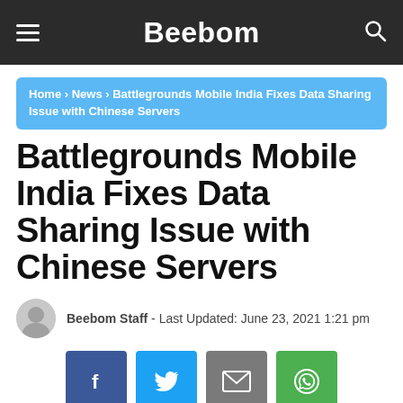Beebom
Home › News › Battlegrounds Mobile India Fixes Data Sharing Issue with Chinese Servers
Battlegrounds Mobile India Fixes Data Sharing Issue with Chinese Servers
Beebom Staff - Last Updated: June 23, 2021 1:21 pm
[Figure (infographic): Social share buttons: Facebook, Twitter, Email, WhatsApp]
[Figure (photo): Battlegrounds Mobile India game logo on dark background]